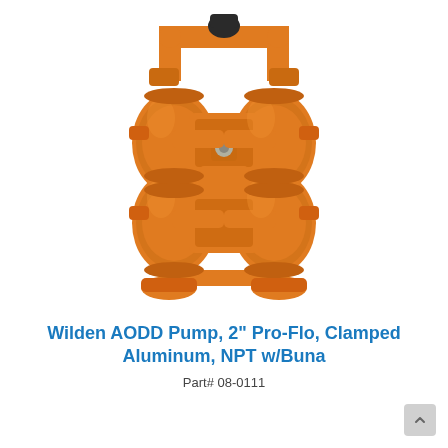[Figure (photo): Orange Wilden AODD (Air-Operated Double Diaphragm) pump, 2-inch Pro-Flo model with clamped aluminum body and NPT connections. The pump body is bright orange with symmetrical left and right pump chambers, a central manifold section, top inlet/outlet piping with a black fitting at top center, and a base with mounting feet.]
Wilden AODD Pump, 2" Pro-Flo, Clamped Aluminum, NPT w/Buna
Part# 08-0111